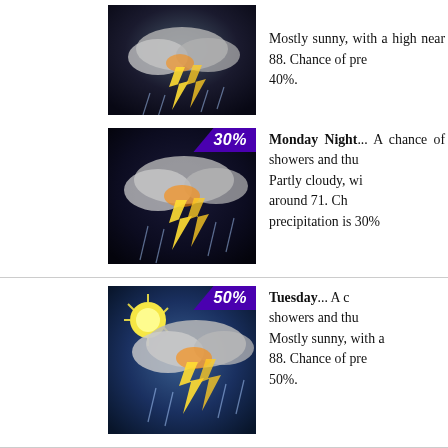[Figure (photo): Weather icon showing thunderstorm with lightning, 40% precipitation badge (partially visible at top)]
Mostly sunny, with a high near 88. Chance of precipitation is 40%.
[Figure (photo): Weather icon showing thunderstorm clouds with lightning, 30% badge]
Monday Night... A chance of showers and thunderstorms. Partly cloudy, with a low around 71. Chance of precipitation is 30%.
[Figure (photo): Weather icon showing sun with thunderstorm clouds and lightning, 50% badge]
Tuesday... A chance of showers and thunderstorms. Mostly sunny, with a high near 88. Chance of precipitation is 50%.
[Figure (photo): Weather icon showing thunderstorm clouds with lightning, 30% badge]
Tuesday Night... A chance of showers and thunderstorms. Partly cloudy, with a low around 72. Chance of precipitation is 30%.